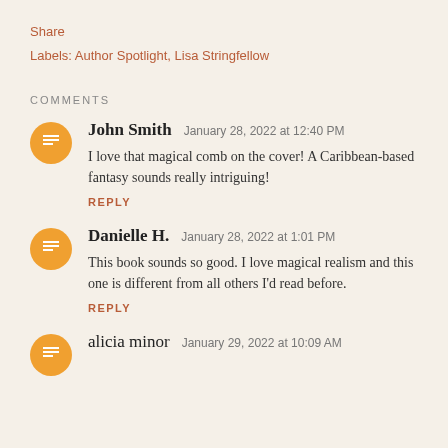Share
Labels: Author Spotlight, Lisa Stringfellow
COMMENTS
John Smith   January 28, 2022 at 12:40 PM
I love that magical comb on the cover! A Caribbean-based fantasy sounds really intriguing!
REPLY
Danielle H.   January 28, 2022 at 1:01 PM
This book sounds so good. I love magical realism and this one is different from all others I'd read before.
REPLY
alicia minor   January 29, 2022 at 10:09 AM